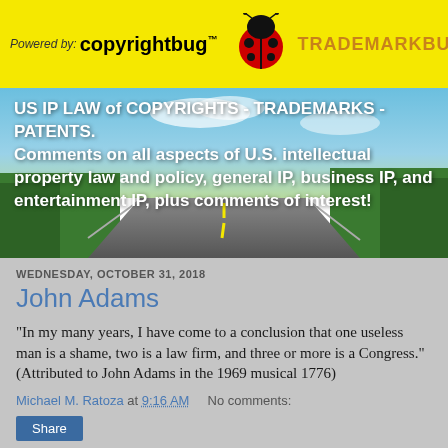Powered by: copyrightbug™  TRADEMARKBUG™
[Figure (illustration): Road scene banner image with blue sky and trees, overlaid with white bold text about US IP law]
US IP LAW of COPYRIGHTS - TRADEMARKS - PATENTS. Comments on all aspects of U.S. intellectual property law and policy, general IP, business IP, and entertainment IP, plus comments of interest!
WEDNESDAY, OCTOBER 31, 2018
John Adams
"In my many years, I have come to a conclusion that one useless man is a shame, two is a law firm, and three or more is a Congress." (Attributed to John Adams in the 1969 musical 1776)
Michael M. Ratoza at 9:16 AM   No comments:
Share